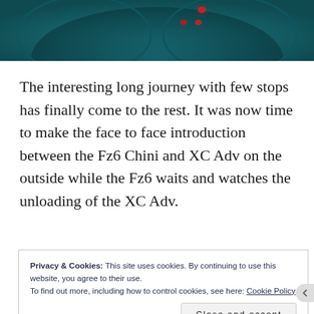[Figure (photo): Top portion of a photo showing a teal/dark cyan dashboard or instrument panel with red indicator lights/dots visible]
The interesting long journey with few stops has finally come to the rest. It was now time to make the face to face introduction between the Fz6 Chini and XC Adv on the outside while the Fz6 waits and watches the unloading of the XC Adv.
Privacy & Cookies: This site uses cookies. By continuing to use this website, you agree to their use.
To find out more, including how to control cookies, see here: Cookie Policy
Close and accept